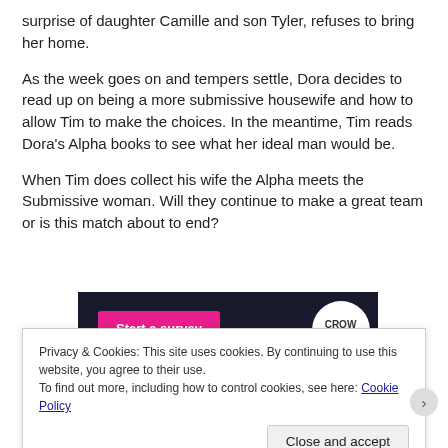surprise of daughter Camille and son Tyler, refuses to bring her home.
As the week goes on and tempers settle, Dora decides to read up on being a more submissive housewife and how to allow Tim to make the choices. In the meantime, Tim reads Dora's Alpha books to see what her ideal man would be.
When Tim does collect his wife the Alpha meets the Submissive woman. Will they continue to make a great team or is this match about to end?
[Figure (screenshot): Dark-background advertisement banner with a pink 'Start a survey' button and a CrowSignal logo circle on the right.]
Privacy & Cookies: This site uses cookies. By continuing to use this website, you agree to their use.
To find out more, including how to control cookies, see here: Cookie Policy
Close and accept